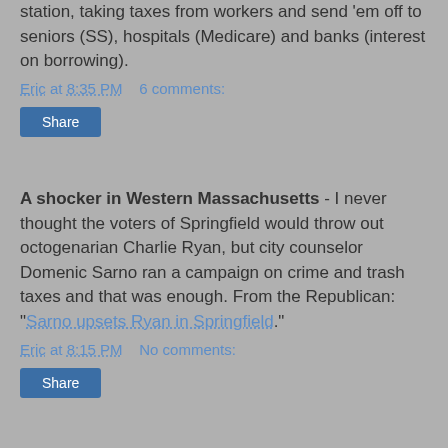station, taking taxes from workers and send 'em off to seniors (SS), hospitals (Medicare) and banks (interest on borrowing).
Eric at 8:35 PM    6 comments:
Share
A shocker in Western Massachusetts - I never thought the voters of Springfield would throw out octogenarian Charlie Ryan, but city counselor Domenic Sarno ran a campaign on crime and trash taxes and that was enough. From the Republican: "Sarno upsets Ryan in Springfield."
Eric at 8:15 PM    No comments:
Share
Religion of tolerance - Gateway Pundit: "Islamists Blow Head Off Ancient Buddhist Statue in Swat"